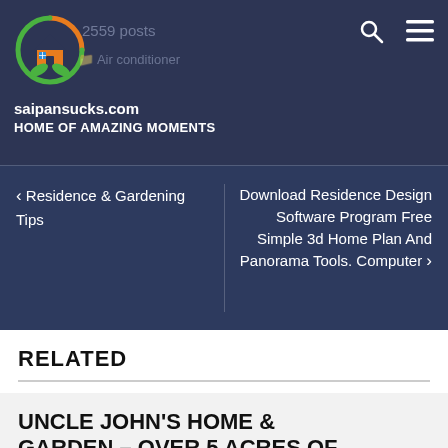[Figure (logo): Circular logo with house and leaves icon, orange and green colors]
2559 posts
Air conditioner
saipansucks.com
HOME OF AMAZING MOMENTS
< Residence & Gardening Tips
Download Residence Design Software Program Free Simple 3d Home Plan And Panorama Tools. Computer >
RELATED
UNCLE JOHN'S HOME & GARDEN – OVER 5 ACRES OF